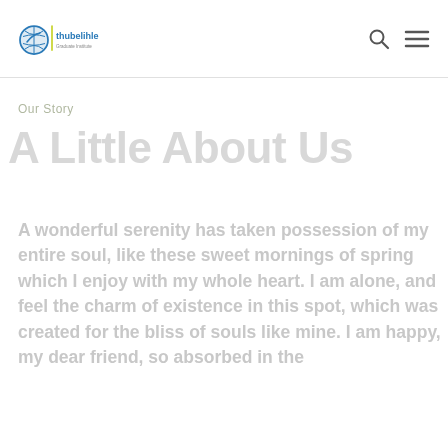thubelihle Graduate Institute
Our Story
A Little About Us
A wonderful serenity has taken possession of my entire soul, like these sweet mornings of spring which I enjoy with my whole heart. I am alone, and feel the charm of existence in this spot, which was created for the bliss of souls like mine. I am happy, my dear friend, so absorbed in the